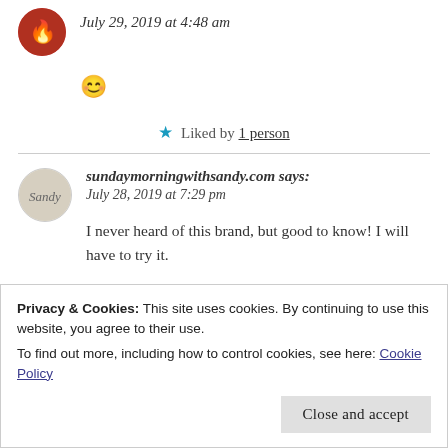July 29, 2019 at 4:48 am
😊
★ Liked by 1 person
sundaymorningwithsandy.com says: July 28, 2019 at 7:29 pm
I never heard of this brand, but good to know! I will have to try it.
Privacy & Cookies: This site uses cookies. By continuing to use this website, you agree to their use.
To find out more, including how to control cookies, see here: Cookie Policy